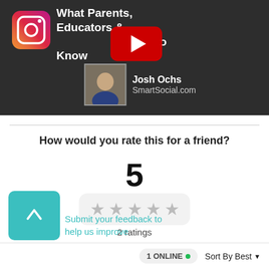[Figure (screenshot): Video thumbnail showing Instagram logo, YouTube play button overlay, title 'What Parents, Educators & Students Need to Know', presenter Josh Ochs from SmartSocial.com]
How would you rate this for a friend?
5
[Figure (infographic): 5-star rating widget showing 5 grey stars]
2 ratings
[Figure (infographic): Teal rounded square button with upward chevron arrow]
Submit your feedback to help us improve
1 ONLINE
Sort By Best